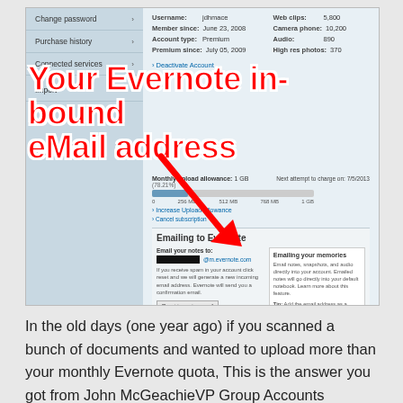[Figure (screenshot): Evernote account settings screenshot showing sidebar with Change password, Purchase history, Connected services, Import menu items. Main area shows account info (Username, Member since, Account type, Premium since, Web clips, Camera phone, Audio, High res photos). Large red bold overlay text reads 'Your Evernote in-bound eMail address' with a red arrow pointing to the Emailing to Evernote section. The emailing section shows an email address (redacted), spam reset option, Reset incoming email button, and Emailing your memories box.]
In the old days (one year ago) if you scanned a bunch of documents and wanted to upload more than your monthly Evernote quota, This is the answer you got from John McGeachieVP Group Accounts Evernote (source email to